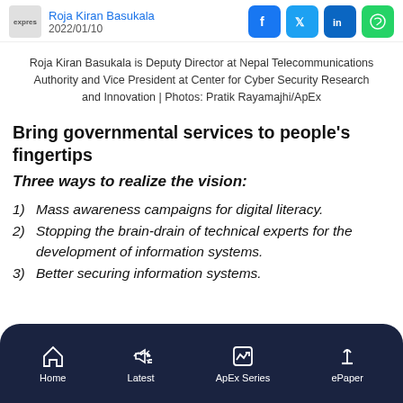Roja Kiran Basukala | 2022/01/10
Roja Kiran Basukala is Deputy Director at Nepal Telecommunications Authority and Vice President at Center for Cyber Security Research and Innovation | Photos: Pratik Rayamajhi/ApEx
Bring governmental services to people’s fingertips
Three ways to realize the vision:
1) Mass awareness campaigns for digital literacy.
2) Stopping the brain-drain of technical experts for the development of information systems.
3) Better securing information systems.
Home | Latest | ApEx Series | ePaper